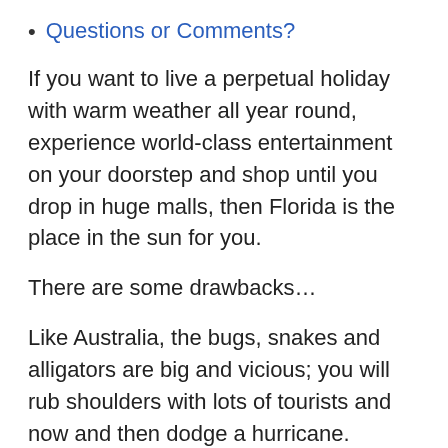Questions or Comments?
If you want to live a perpetual holiday with warm weather all year round, experience world-class entertainment on your doorstep and shop until you drop in huge malls, then Florida is the place in the sun for you.
There are some drawbacks…
Like Australia, the bugs, snakes and alligators are big and vicious; you will rub shoulders with lots of tourists and now and then dodge a hurricane.
But the plus column more than makes up for